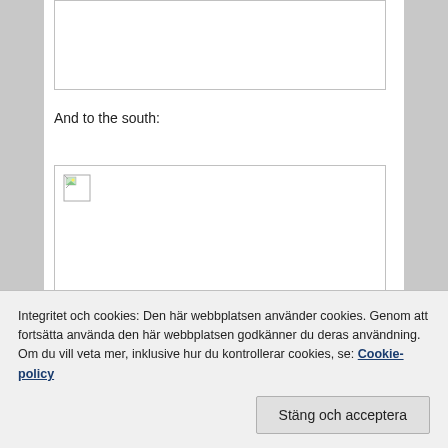[Figure (photo): Blank/broken image placeholder at top of page]
And to the south:
[Figure (photo): Broken image placeholder showing landscape icon, partially visible]
Integritet och cookies: Den här webbplatsen använder cookies. Genom att fortsätta använda den här webbplatsen godkänner du deras användning. Om du vill veta mer, inklusive hur du kontrollerar cookies, se: Cookie-policy
Stäng och acceptera